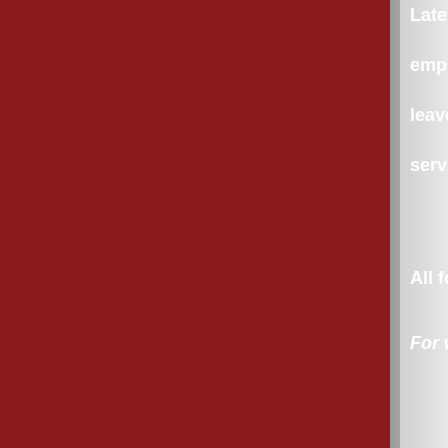Later this month, Qantas will say farewell to its employees and a series of sold-out flights. This leaves British Airways and Lufthansa still in service. Each of these carriers...
All four of these airlines were among...
For what it's worth, I did spot a...
Let's welcome Aeromexico to the...
Depressingly, if somewhat predictably...